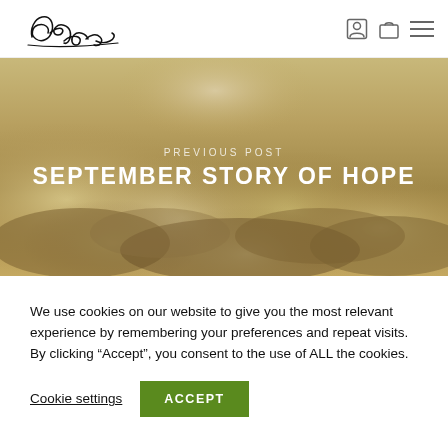Don Moen — signature logo with user, cart, and menu icons
[Figure (photo): Hero banner image showing golden-toned clouds viewed from above, with an olive/amber color palette. Overlay text reads 'PREVIOUS POST' and 'SEPTEMBER STORY OF HOPE']
PREVIOUS POST
SEPTEMBER STORY OF HOPE
We use cookies on our website to give you the most relevant experience by remembering your preferences and repeat visits. By clicking “Accept”, you consent to the use of ALL the cookies.
Cookie settings
ACCEPT